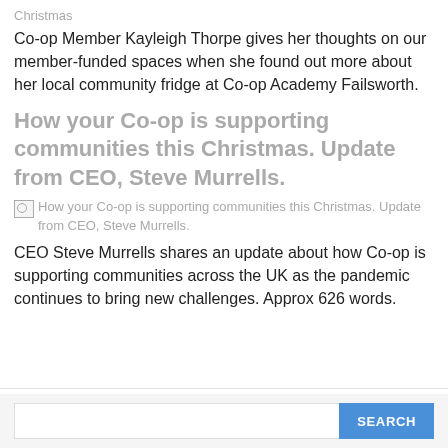Christmas
Co-op Member Kayleigh Thorpe gives her thoughts on our member-funded spaces when she found out more about her local community fridge at Co-op Academy Failsworth.
How your Co-op is supporting communities this Christmas. Update from CEO, Steve Murrells.
[Figure (other): Broken image placeholder for article thumbnail with alt text: How your Co-op is supporting communities this Christmas. Update from CEO, Steve Murrells.]
CEO Steve Murrells shares an update about how Co-op is supporting communities across the UK as the pandemic continues to bring new challenges. Approx 626 words.